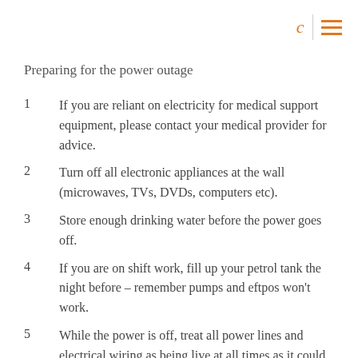C ≡
Preparing for the power outage
If you are reliant on electricity for medical support equipment, please contact your medical provider for advice.
Turn off all electronic appliances at the wall (microwaves, TVs, DVDs, computers etc).
Store enough drinking water before the power goes off.
If you are on shift work, fill up your petrol tank the night before – remember pumps and eftpos won't work.
While the power is off, treat all power lines and electrical wiring as being live at all times as it could